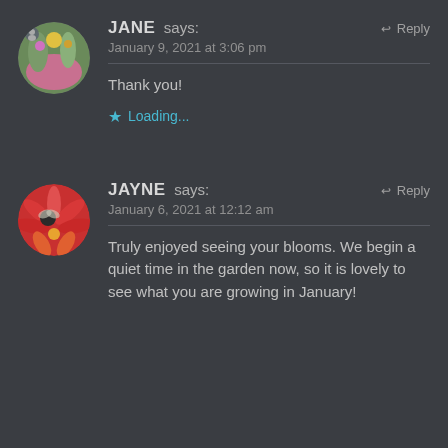JANE says: January 9, 2021 at 3:06 pm ↩ Reply
Thank you!
★ Loading...
JAYNE says: January 6, 2021 at 12:12 am ↩ Reply
Truly enjoyed seeing your blooms. We begin a quiet time in the garden now, so it is lovely to see what you are growing in January!